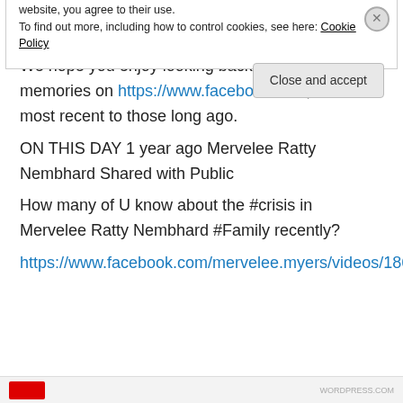[Figure (other): Five gold star rating icons followed by a blue info circle icon and the text '1 Vote']
We hope you enjoy looking back and sharing your memories on https://www.facebook.com, from the most recent to those long ago.
ON THIS DAY 1 year ago Mervelee Ratty Nembhard Shared with Public
How many of U know about the #crisis in Mervelee Ratty Nembhard #Family recently?
https://www.facebook.com/mervelee.myers/videos/1861
Privacy & Cookies: This site uses cookies. By continuing to use this website, you agree to their use.
To find out more, including how to control cookies, see here: Cookie Policy
Close and accept